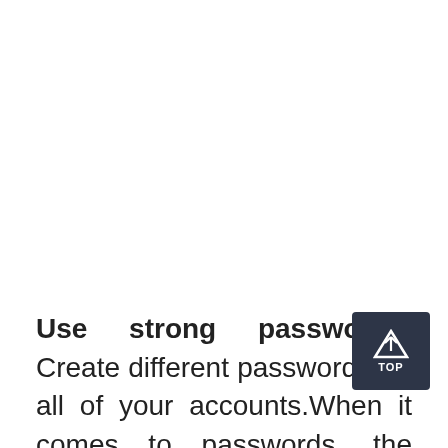Use strong passwords. Create different passwords for all of your accounts.When it comes to passwords, the longer the better - 14 characters is the current industry sta… Use a combination of letters (upper and lower case), numbers, and symbols.Consider passphrases, where you use the first letters of a memorable phrase to create a…